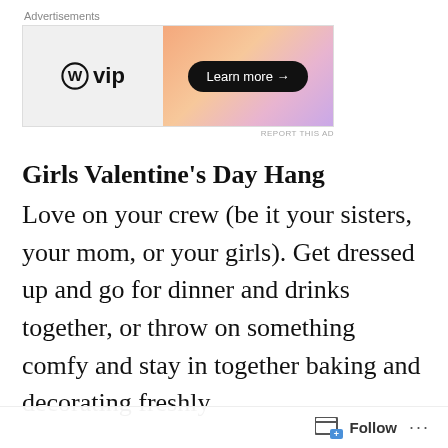[Figure (other): WordPress VIP advertisement banner with WP logo on left and orange-pink gradient background on right with 'Learn more →' button]
Girls Valentine's Day Hang
Love on your crew (be it your sisters, your mom, or your girls). Get dressed up and go for dinner and drinks together, or throw on something comfy and stay in together baking and decorating freshly
Follow ...